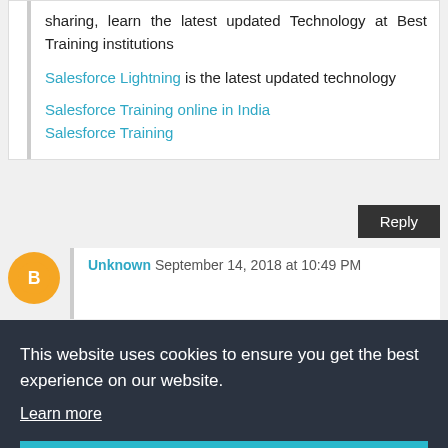sharing, learn the latest updated Technology at Best Training institutions
Salesforce Lightning is the latest updated technology
Salesforce Training online in India
Salesforce Training
Reply
Unknown September 14, 2018 at 10:49 PM
This website uses cookies to ensure you get the best experience on our website.
Learn more
Got it!
headers in database for eg